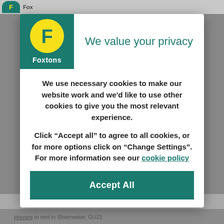[Figure (logo): Foxtons estate agent logo: teal/green background block with yellow circle containing white 'F' letter and 'Foxtons' text below in white]
We value your privacy
We use necessary cookies to make our website work and we'd like to use other cookies to give you the most relevant experience.
Click “Accept all” to agree to all cookies, or for more options click on “Change Settings”. For more information see our cookie policy
Accept All
Houses to rent in Sheerwater, GU22